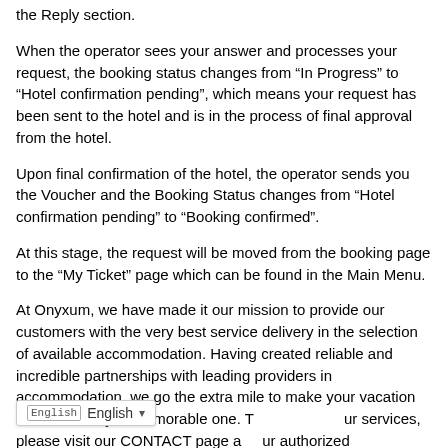the Reply section.
When the operator sees your answer and processes your request, the booking status changes from “In Progress” to “Hotel confirmation pending”, which means your request has been sent to the hotel and is in the process of final approval from the hotel.
Upon final confirmation of the hotel, the operator sends you the Voucher and the Booking Status changes from “Hotel confirmation pending” to “Booking confirmed”.
At this stage, the request will be moved from the booking page to the “My Ticket” page which can be found in the Main Menu.
At Onyxum, we have made it our mission to provide our customers with the very best service delivery in the selection of available accommodation. Having created reliable and incredible partnerships with leading providers in accommodation, we go the extra mile to make your vacation and time away, a memorable one. To learn about our services, please visit our CONTACT page and our authorized representatives.